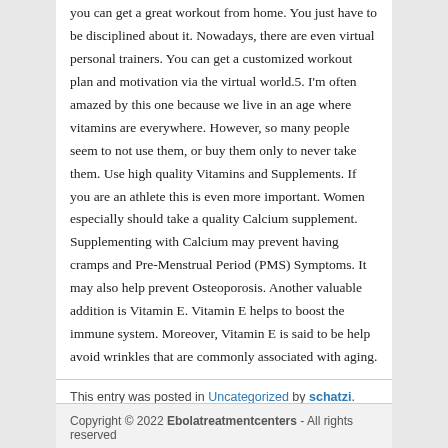you can get a great workout from home. You just have to be disciplined about it. Nowadays, there are even virtual personal trainers. You can get a customized workout plan and motivation via the virtual world.5. I'm often amazed by this one because we live in an age where vitamins are everywhere. However, so many people seem to not use them, or buy them only to never take them. Use high quality Vitamins and Supplements. If you are an athlete this is even more important. Women especially should take a quality Calcium supplement. Supplementing with Calcium may prevent having cramps and Pre-Menstrual Period (PMS) Symptoms. It may also help prevent Osteoporosis. Another valuable addition is Vitamin E. Vitamin E helps to boost the immune system. Moreover, Vitamin E is said to be help avoid wrinkles that are commonly associated with aging.
This entry was posted in Uncategorized by schatzi. Bookmark the permalink.
Copyright © 2022 Ebolatreatmentcenters - All rights reserved